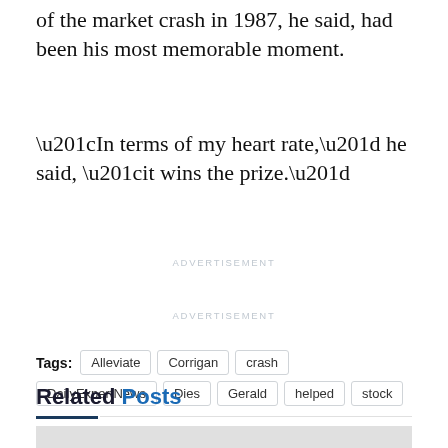of the market crash in 1987, he said, had been his most memorable moment.
“In terms of my heart rate,” he said, “it wins the prize.”
ADVERTISEMENT
ADVERTISEMENT
Tags: Alleviate  Corrigan  crash  DailyExpertNews  Dies  Gerald  helped  stock
ADVERTISEMENT
Related Posts